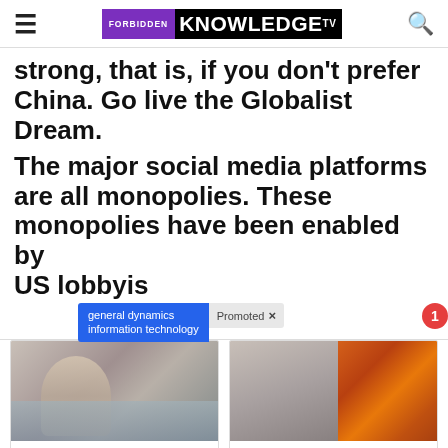FORBIDDEN KNOWLEDGE TV
strong, that is, if you don't prefer China. Go live the Globalist Dream.
The major social media platforms are all monopolies. These monopolies have been enabled by US lobbyis[t]
[Figure (screenshot): Promoted ad tooltip overlay showing 'general dynamics information technology' in blue and 'Promoted X' label, with a notification badge showing '1']
[Figure (photo): Advertisement image for dementia article showing a person sitting on a bed]
4 Warning Signs Of Dementia (#2 Is Scary)
Find Out More
[Figure (photo): Advertisement image for belly fat article showing a person and a spoon with spices]
Just 1 Teaspoon Burns Belly Fat Like Crazy!
Find Out More